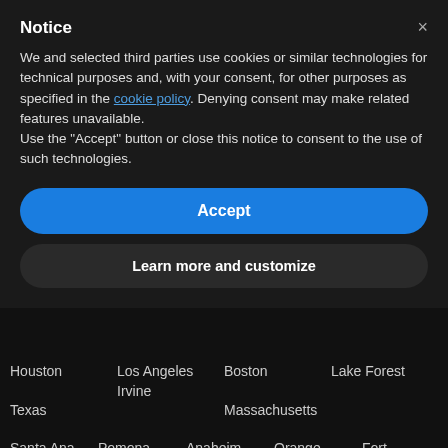Notice
We and selected third parties use cookies or similar technologies for technical purposes and, with your consent, for other purposes as specified in the cookie policy. Denying consent may make related features unavailable.
Use the “Accept” button or close this notice to consent to the use of such technologies.
Accept
Learn more and customize
Houston  Los Angeles Irvine  Boston  Lake Forest
Texas                       Massachusetts
Santa Ana  Pomona  Anaheim  Orange County  Fort Lauderdale  Florida